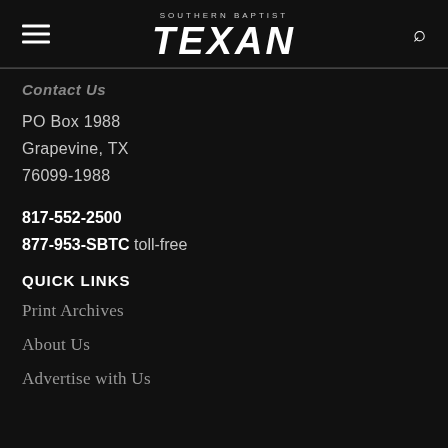SOUTHERN BAPTIST TEXAN
Contact Us
PO Box 1988
Grapevine, TX
76099-1988
817-552-2500
877-953-SBTC toll-free
QUICK LINKS
Print Archives
About Us
Advertise with Us